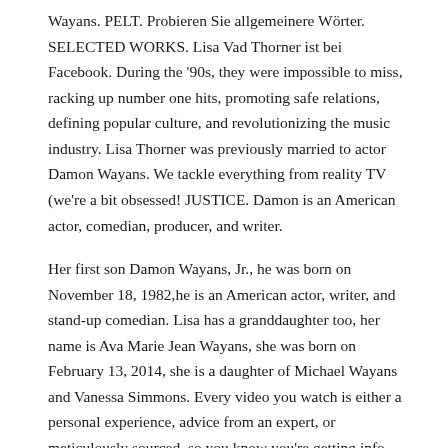Wayans. PELT. Probieren Sie allgemeinere Wörter. SELECTED WORKS. Lisa Vad Thorner ist bei Facebook. During the '90s, they were impossible to miss, racking up number one hits, promoting safe relations, defining popular culture, and revolutionizing the music industry. Lisa Thorner was previously married to actor Damon Wayans. We tackle everything from reality TV (we're a bit obsessed! JUSTICE. Damon is an American actor, comedian, producer, and writer.
Her first son Damon Wayans, Jr., he was born on November 18, 1982,he is an American actor, writer, and stand-up comedian. Lisa has a granddaughter too, her name is Ava Marie Jean Wayans, she was born on February 13, 2014, she is a daughter of Michael Wayans and Vanessa Simmons. Every video you watch is either a personal experience, advice from an expert, or meticulously sourced, so you know you're getting info you can trust, from women who get it. Trending :Joanna Gaines || Kamala Harris || Pat Sajak || Elizabeth Warren || Nicole Curtis || Prüfen Sie die